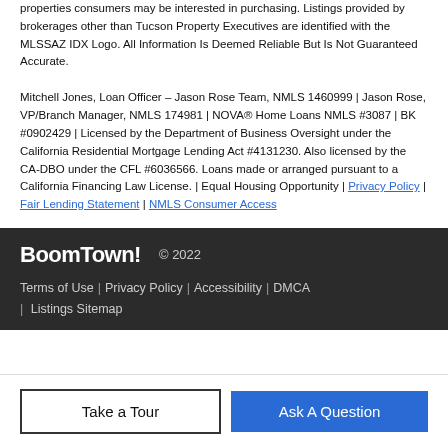properties consumers may be interested in purchasing. Listings provided by brokerages other than Tucson Property Executives are identified with the MLSSAZ IDX Logo. All Information Is Deemed Reliable But Is Not Guaranteed Accurate.
Mitchell Jones, Loan Officer – Jason Rose Team, NMLS 1460999 | Jason Rose, VP/Branch Manager, NMLS 174981 | NOVA® Home Loans NMLS #3087 | BK #0902429 | Licensed by the Department of Business Oversight under the California Residential Mortgage Lending Act #4131230. Also licensed by the CA-DBO under the CFL #6036566. Loans made or arranged pursuant to a California Financing Law License. | Equal Housing Opportunity | Privacy Policy | Fair Lending Statement | NMLS Consumer Access
BoomTown! © 2022
Terms of Use | Privacy Policy | Accessibility | DMCA | Listings Sitemap